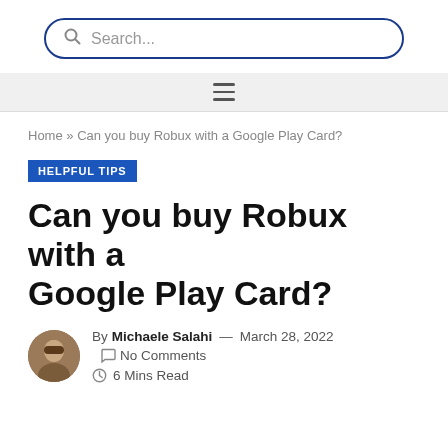Search...
Home » Can you buy Robux with a Google Play Card?
HELPFUL TIPS
Can you buy Robux with a Google Play Card?
By Michaele Salahi — March 28, 2022   No Comments  6 Mins Read